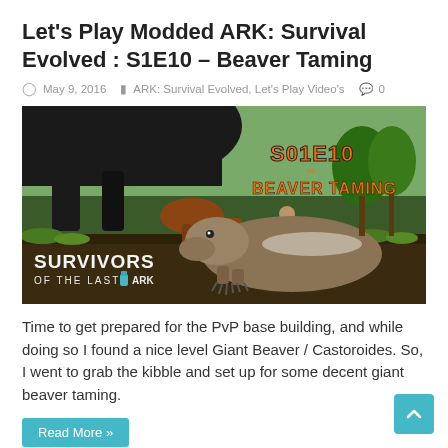Let's Play Modded ARK: Survival Evolved : S1E10 – Beaver Taming
May 9, 2016   ARK: Survival Evolved, Let's Play Video's   0
[Figure (screenshot): Game screenshot showing a Giant Beaver (Castoroides) being tamed in ARK: Survival Evolved. Text overlay reads S01E10 BEAVER TAMING in orange. Bottom-left reads SURVIVORS OF THE LAST ARK.]
Time to get prepared for the PvP base building, and while doing so I found a nice level Giant Beaver / Castoroides. So, I went to grab the kibble and set up for some decent giant beaver taming.